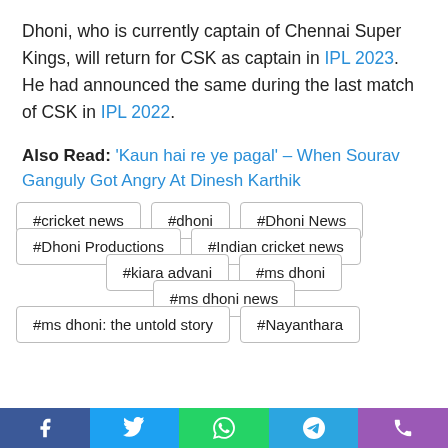Dhoni, who is currently captain of Chennai Super Kings, will return for CSK as captain in IPL 2023. He had announced the same during the last match of CSK in IPL 2022.
Also Read: 'Kaun hai re ye pagal' – When Sourav Ganguly Got Angry At Dinesh Karthik
#cricket news
#dhoni
#Dhoni News
#Dhoni Productions
#Indian cricket news
#kiara advani
#ms dhoni
#ms dhoni news
#ms dhoni: the untold story
#Nayanthara
Facebook | Twitter | WhatsApp | Telegram | Phone